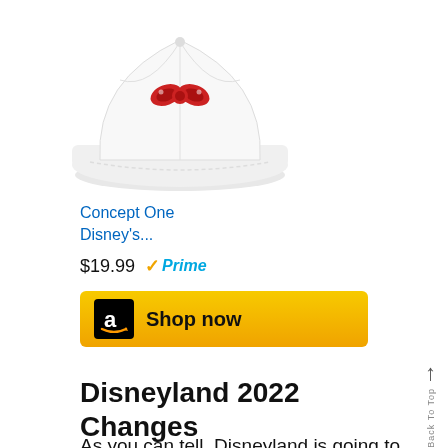[Figure (photo): White baseball cap with Minnie Mouse red bow embroidery on the front, shown on a white background.]
Concept One Disney's...
$19.99  ✓Prime
[Figure (other): Amazon 'Shop now' button — black Amazon logo on gold/yellow background with 'Shop now' text.]
Disneyland 2022 Changes
As you can tell, Disneyland is going to change quite a bit in 2022 and beyond. There are quite a few older Disneyland attractions and shows